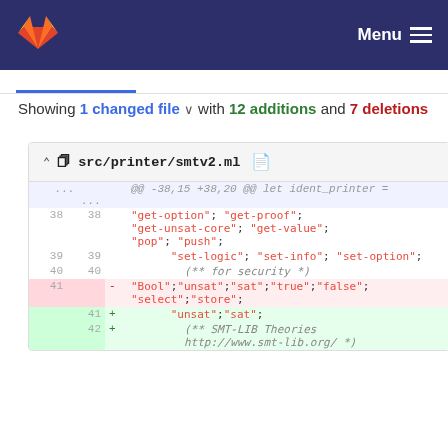Menu
Showing 1 changed file with 12 additions and 7 deletions
| old ln | new ln | op | code |
| --- | --- | --- | --- |
| ... | ... |  | @@ -38,15 +38,20 @@ let ident_printer = |
| 38 | 38 |  | "get-option"; "get-proof"; "get-unsat-core"; "get-value"; "pop"; "push"; |
| 39 | 39 |  | "set-logic"; "set-info"; "set-option"; |
| 40 | 40 |  | (** for security *) |
| 41 |  | - | "Bool";"unsat";"sat";"true";"false"; "select";"store"; |
|  | 41 | + | "unsat";"sat"; |
|  | 42 | + | (** SMT-LIB Theories http://www.smt-lib.org/ *) |